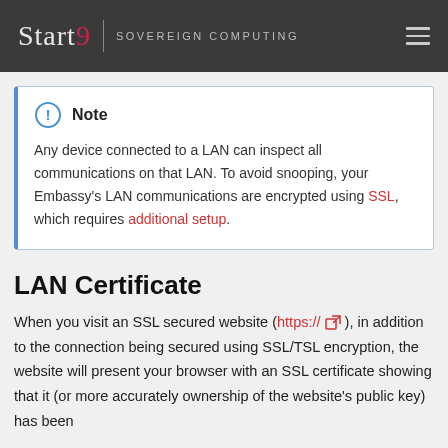Start9 | SOVEREIGN COMPUTING
Note
Any device connected to a LAN can inspect all communications on that LAN. To avoid snooping, your Embassy's LAN communications are encrypted using SSL, which requires additional setup.
LAN Certificate
When you visit an SSL secured website (https://), in addition to the connection being secured using SSL/TSL encryption, the website will present your browser with an SSL certificate showing that it (or more accurately ownership of the website's public key) has been